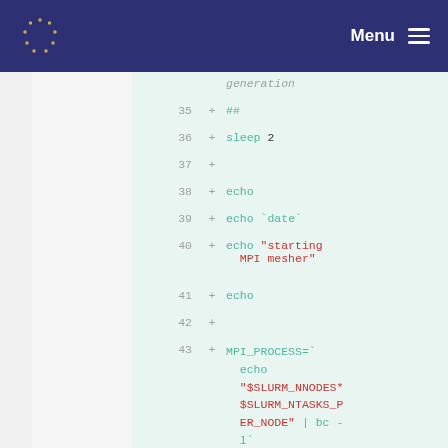Menu
[Figure (screenshot): Code diff view showing shell script lines 35-45 with line numbers, plus signs for additions, and syntax highlighting. Lines show: ##, sleep 2, echo, echo `date`, echo "starting MPI mesher", echo, MPI_PROCESS=`echo "$SLURM_NNODES*$SLURM_NTASKS_PER_NODE" | bc -l`, echo "$SLURM_NNODES*$SLURM_CPUS_PER_TASK", echo]